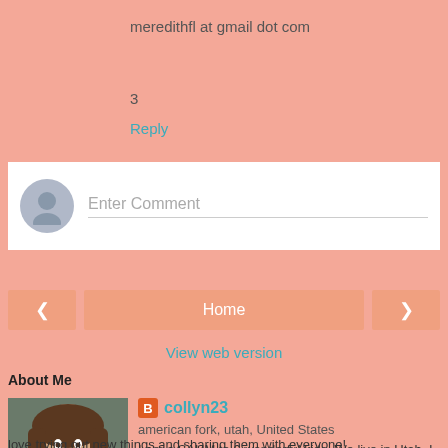meredithfl at gmail dot com
3
Reply
[Figure (other): Comment input box with grey avatar placeholder and 'Enter Comment' placeholder text]
[Figure (other): Navigation bar with left arrow button, Home button, and right arrow button]
View web version
About Me
[Figure (photo): Profile photo of a woman with long brown hair]
collyn23
american fork, utah, United States
I am a SAHM to 6 wonderful kids. We live in Utah. I am a photographer, blogger, and a product reviewer. I love trying out new things and sharing them with everyone!